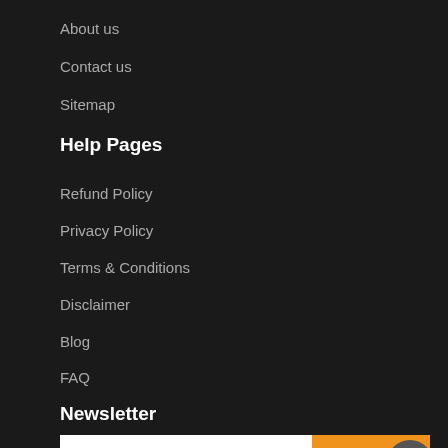About us
Contact us
Sitemap
Help Pages
Refund Policy
Privacy Policy
Terms & Conditions
Disclaimer
Blog
FAQ
Newsletter
SUBSCRIBE
Follow Us